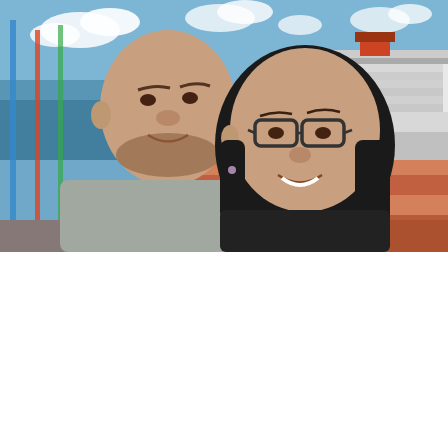[Figure (photo): A couple taking a selfie at a cruise port. A bald man in a grey shirt and a woman with glasses and dark hair are smiling. In the background is a large cruise ship docked at a colorful pier with people walking and blue sky with clouds.]
Small Candy Easy Seal Gift Packet
Fast Charging Wireless Car Charger Automatic Sensor iphone samsung gravity hold